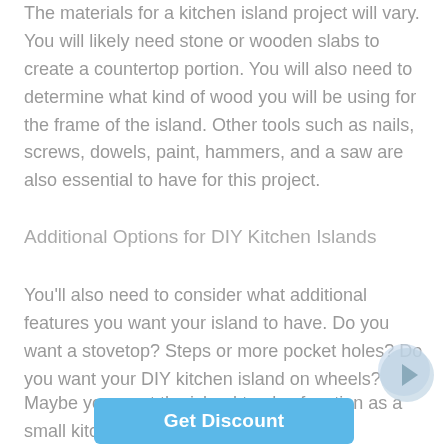The materials for a kitchen island project will vary. You will likely need stone or wooden slabs to create a countertop portion. You will also need to determine what kind of wood you will be using for the frame of the island. Other tools such as nails, screws, dowels, paint, hammers, and a saw are also essential to have for this project.
Additional Options for DIY Kitchen Islands
You'll also need to consider what additional features you want your island to have. Do you want a stovetop? Steps or more pocket holes? Do you want your DIY kitchen island on wheels?
Maybe you want the island to also function as a small kitchen pantry. Or you want a   with